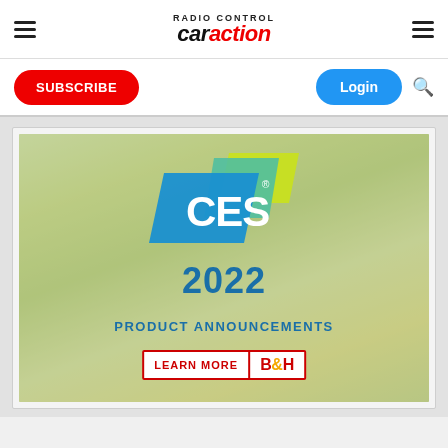Car Action magazine navigation header with hamburger menus and logo
[Figure (logo): Car Action magazine logo in center of nav bar]
SUBSCRIBE
Login
[Figure (infographic): CES 2022 Product Announcements banner with CES logo and B&H Learn More CTA button, overlaid on a muted trade show background image]